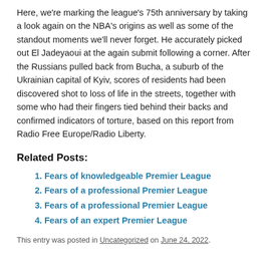Here, we're marking the league's 75th anniversary by taking a look again on the NBA's origins as well as some of the standout moments we'll never forget. He accurately picked out El Jadeyaoui at the again submit following a corner. After the Russians pulled back from Bucha, a suburb of the Ukrainian capital of Kyiv, scores of residents had been discovered shot to loss of life in the streets, together with some who had their fingers tied behind their backs and confirmed indicators of torture, based on this report from Radio Free Europe/Radio Liberty.
Related Posts:
Fears of knowledgeable Premier League
Fears of a professional Premier League
Fears of a professional Premier League
Fears of an expert Premier League
This entry was posted in Uncategorized on June 24, 2022.